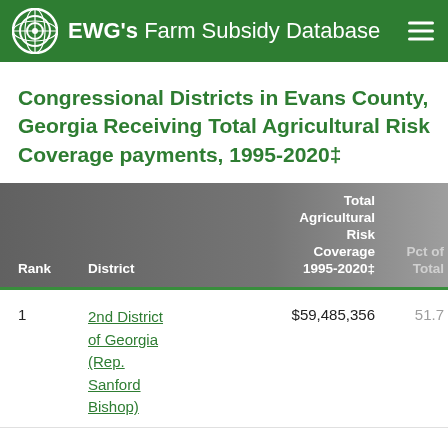EWG's Farm Subsidy Database
Congressional Districts in Evans County, Georgia Receiving Total Agricultural Risk Coverage payments, 1995-2020‡
| Rank | District | Total Agricultural Risk Coverage 1995-2020‡ | Pct of Total |
| --- | --- | --- | --- |
| 1 | 2nd District of Georgia (Rep. Sanford Bishop) | $59,485,356 | 51.7% |